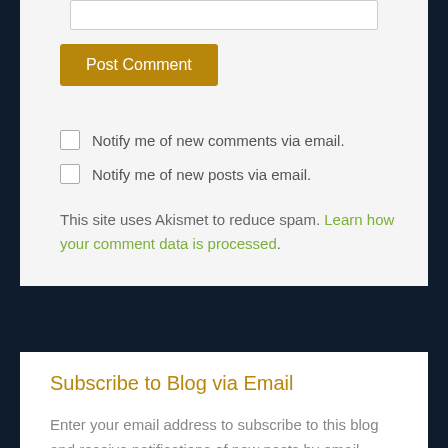[Figure (screenshot): Text input box (comment field)]
Post Comment
Notify me of new comments via email.
Notify me of new posts via email.
This site uses Akismet to reduce spam. Learn how your comment data is processed.
Subscribe to Blog via Email
Enter your email address to subscribe to this blog and receive notifications of new posts by email.